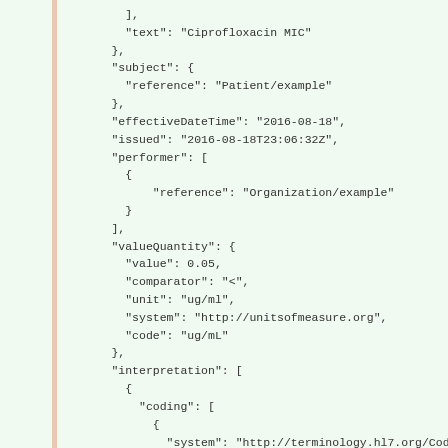JSON code snippet showing FHIR Observation resource fields: text: Ciprofloxacin MIC, subject reference: Patient/example, effectiveDateTime: 2016-08-18, issued: 2016-08-18T23:06:32Z, performer: Organization/example, valueQuantity: value 0.05, comparator <, unit ug/ml, system http://unitsofmeasure.org, code ug/mL, interpretation coding: system http://terminology.hl7.org/CodeSyst, code S, display Susceptible